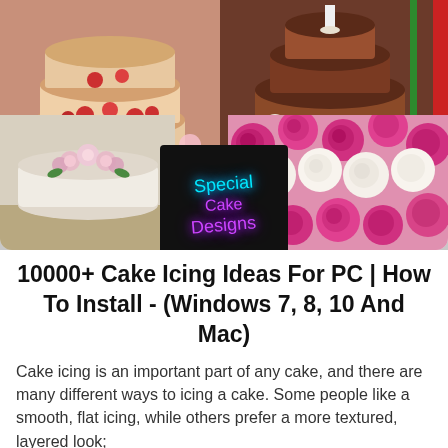[Figure (photo): A 2x2 grid collage of cake images: top-left shows a naked strawberry and rose layer cake, top-right shows a chocolate tiered cake with pink and white flowers and a green/red border, bottom-left shows a small white cake topped with pink flowers, bottom-right shows a close-up of pink and white rose decorations. A black overlay in the center reads 'Special Cake Designs' in neon cyan and purple script.]
10000+ Cake Icing Ideas For PC | How To Install - (Windows 7, 8, 10 And Mac)
Cake icing is an important part of any cake, and there are many different ways to icing a cake. Some people like a smooth, flat icing, while others prefer a more textured, layered look;